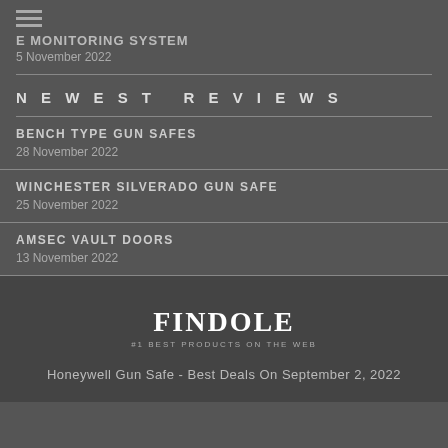E MONITORING SYSTEM
5 November 2022
NEWEST REVIEWS
BENCH TYPE GUN SAFES
28 November 2022
WINCHESTER SILVERADO GUN SAFE
25 November 2022
AMSEC VAULT DOORS
13 November 2022
FINDOLE
#1 BEST PRODUCTS ON THE WEB
Honeywell Gun Safe - Best Deals On September 2, 2022